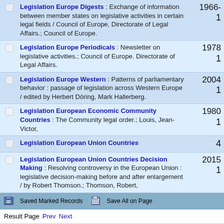Legislation Europe Digests : Exchange of information between member states on legislative activities in certain legal fields / Council of Europe, Directorate of Legal Affairs.; Council of Europe.
Legislation Europe Periodicals : Newsletter on legislative activities.; Council of Europe. Directorate of Legal Affairs.
Legislation Europe Western : Patterns of parliamentary behavior : passage of legislation across Western Europe / edited by Herbert Döring, Mark Hallerberg.
Legislation European Economic Community Countries : The Community legal order.; Louis, Jean-Victor,
Legislation European Union Countries
Legislation European Union Countries Decision Making : Resolving controversy in the European Union : legislative decision-making before and after enlargement / by Robert Thomson.; Thomson, Robert,
Saved Marked Records   Save All on Page
Result Page   Prev Next
Start Again   Expand Display   Limit/Sort Search